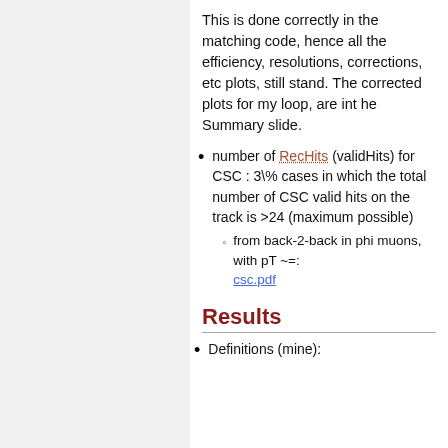This is done correctly in the matching code, hence all the efficiency, resolutions, corrections, etc plots, still stand. The corrected plots for my loop, are int he Summary slide.
number of RecHits (validHits) for CSC : 3\% cases in which the total number of CSC valid hits on the track is >24 (maximum possible)
  - from back-2-back in phi muons, with pT ~=: csc.pdf
Results
Definitions (mine):